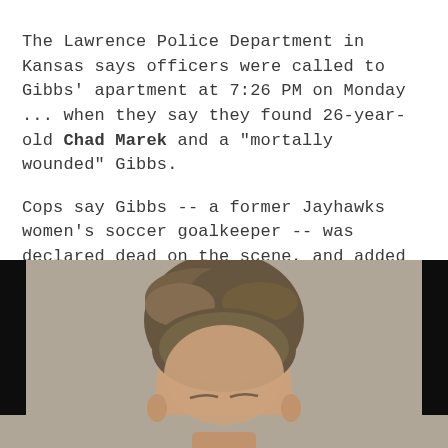The Lawrence Police Department in Kansas says officers were called to Gibbs' apartment at 7:26 PM on Monday ... when they say they found 26-year-old Chad Marek and a "mortally wounded" Gibbs.
Cops say Gibbs -- a former Jayhawks women's soccer goalkeeper -- was declared dead on the scene, and added Marek was arrested a short time later on suspicion of murder.
[Figure (photo): Mugshot photo of a man with brown hair, shown from shoulders up against a beige/gray background, flanked by black panels on left and right.]